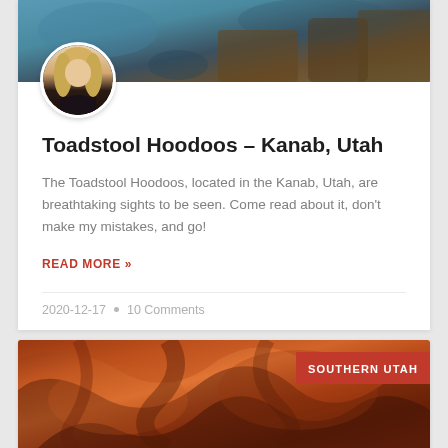[Figure (photo): Hero landscape photo at the top of the card showing rocky/scenic terrain with blue tones]
[Figure (photo): Circular avatar photo of a blonde woman in a black outfit]
Toadstool Hoodoos – Kanab, Utah
The Toadstool Hoodoos, located in the Kanab, Utah, are breathtaking sights to be seen. Come read about it, don't make my mistakes, and go!
READ MORE »
2020-12-17  •  10 Comments
[Figure (photo): Photo of red/orange swirling sandstone rock formation resembling a canyon interior]
SOUTHERN UTAH